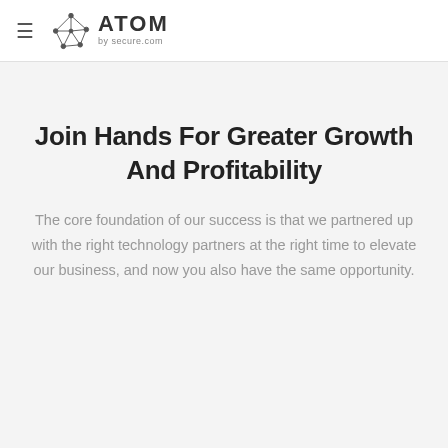≡  ATOM by secure.com
Join Hands For Greater Growth And Profitability
The core foundation of our success is that we partnered up with the right technology partners at the right time to elevate our business, and now you also have the same opportunity.